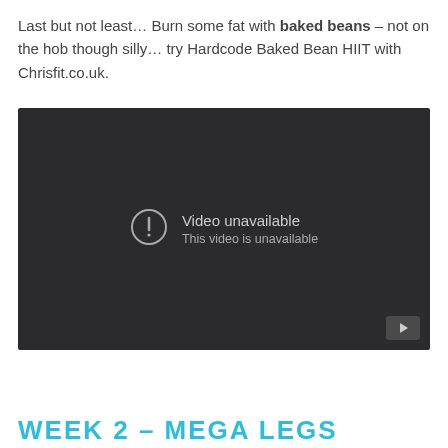Last but not least… Burn some fat with baked beans – not on the hob though silly… try Hardcode Baked Bean HIIT with Chrisfit.co.uk.
[Figure (screenshot): Embedded video player showing 'Video unavailable – This video is unavailable' message on a dark background with a YouTube play button icon in the bottom right corner.]
WEEK 2 – MEGA LEGS